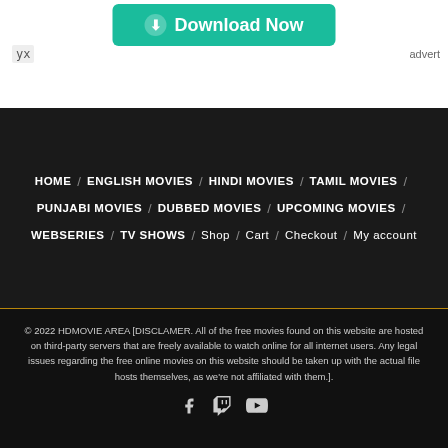[Figure (screenshot): Download Now button with teal background and circular download icon]
advert
HOME / ENGLISH MOVIES / HINDI MOVIES / TAMIL MOVIES /
PUNJABI MOVIES / DUBBED MOVIES / UPCOMING MOVIES /
WEBSERIES / TV SHOWS / Shop / Cart / Checkout / My account
© 2022 HDMOVIE AREA [DISCLAMER. All of the free movies found on this website are hosted on third-party servers that are freely available to watch online for all internet users. Any legal issues regarding the free online movies on this website should be taken up with the actual file hosts themselves, as we're not affiliated with them.].
[Figure (logo): Social media icons: Facebook, Twitch, YouTube]